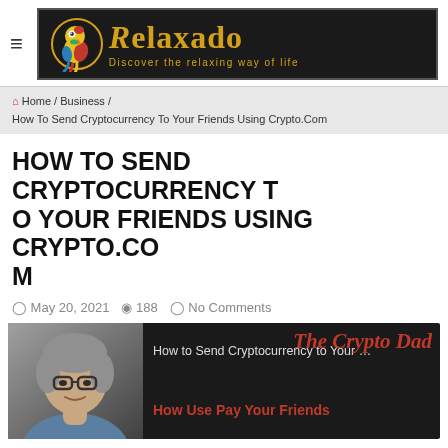Relaxado – Discover the relaxing way of life
Home / Business / How To Send Cryptocurrency To Your Friends Using Crypto.Com
HOW TO SEND CRYPTOCURRENCY TO YOUR FRIENDS USING CRYPTO.COM
May 20, 2021  188  No Comments
[Figure (screenshot): Video thumbnail showing a man and overlay text: How to Send Cryptocurrency to Your … The Crypto Dad How Use Pay Your Friends]